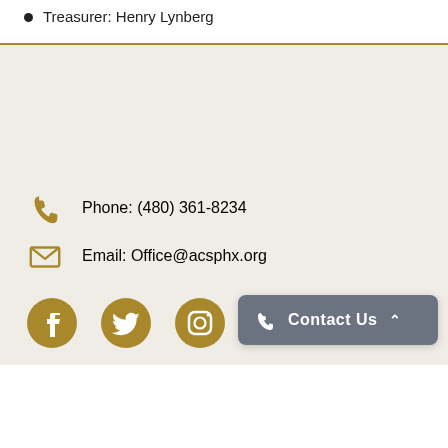Treasurer: Henry Lynberg
Phone: (480) 361-8234
Email: Office@acsphx.org
[Figure (other): Social media icons: Facebook, Twitter, Instagram]
Contact Us